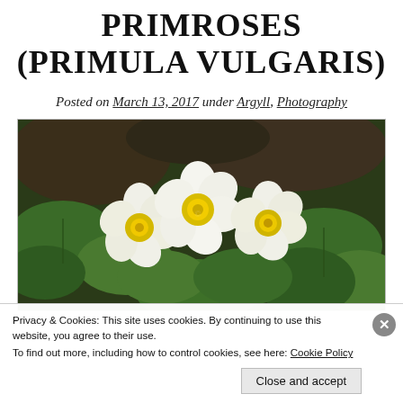PRIMROSES (PRIMULA VULGARIS)
Posted on March 13, 2017 under Argyll, Photography
[Figure (photo): Close-up photograph of white primrose flowers (Primula vulgaris) with yellow centers, surrounded by green leaves and a dark rocky background.]
Privacy & Cookies: This site uses cookies. By continuing to use this website, you agree to their use.
To find out more, including how to control cookies, see here: Cookie Policy
Close and accept